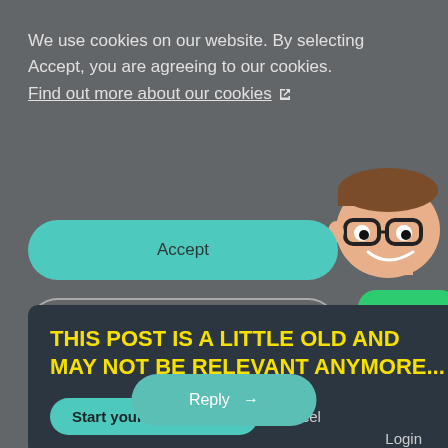We use cookies on our website. By selecting Accept, you are agreeing to our cookies. Find out more about our cookies ↗
[Figure (illustration): Cartoon character of a man with brown hair and glasses, wearing a green shirt, leaning in from the right side]
Accept
Reject
THIS POST IS A LITTLE OLD AND MAY NOT BE RELEVANT ANYMORE...
Start your own post →
Cancel
Login
Reply →